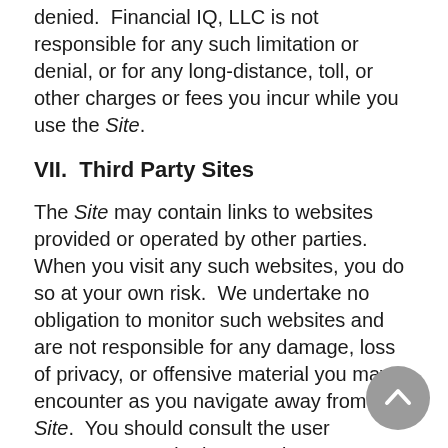denied.  Financial IQ, LLC is not responsible for any such limitation or denial, or for any long-distance, toll, or other charges or fees you incur while you use the Site.
VII.  Third Party Sites
The Site may contain links to websites provided or operated by other parties. When you visit any such websites, you do so at your own risk.  We undertake no obligation to monitor such websites and are not responsible for any damage, loss of privacy, or offensive material you may encounter as you navigate away from the Site.  You should consult the user agreements and privacy and